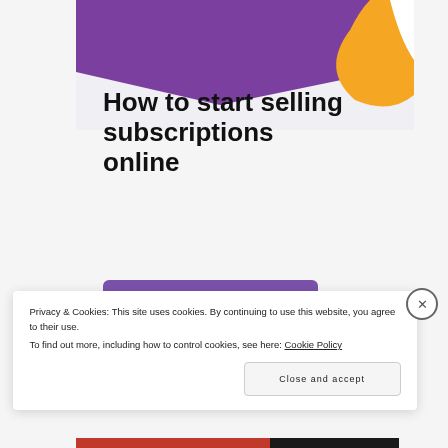[Figure (illustration): Purple banner at top with orange decorative shape in top-right corner, on a light gray card background]
How to start selling subscriptions online
Start a new store
Privacy & Cookies: This site uses cookies. By continuing to use this website, you agree to their use.
To find out more, including how to control cookies, see here: Cookie Policy
Close and accept